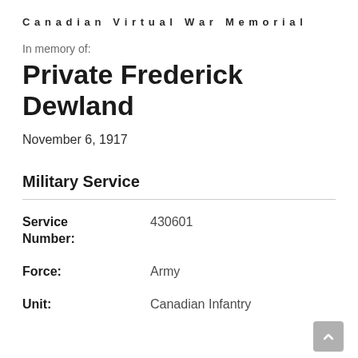Canadian Virtual War Memorial
In memory of:
Private Frederick Dewland
November 6, 1917
Military Service
| Field | Value |
| --- | --- |
| Service Number: | 430601 |
| Force: | Army |
| Unit: | Canadian Infantry |